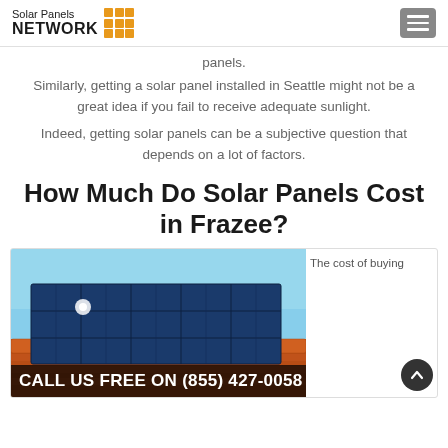Solar Panels NETWORK
panels.
Similarly, getting a solar panel installed in Seattle might not be a great idea if you fail to receive adequate sunlight.
Indeed, getting solar panels can be a subjective question that depends on a lot of factors.
How Much Do Solar Panels Cost in Frazee?
[Figure (photo): Solar panels installed on an orange tiled roof against a blue sky]
The cost of buying
CALL US FREE ON (855) 427-0058